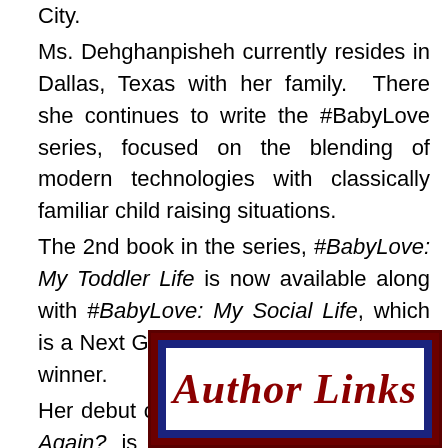City. Ms. Dehghanpisheh currently resides in Dallas, Texas with her family. There she continues to write the #BabyLove series, focused on the blending of modern technologies with classically familiar child raising situations. The 2nd book in the series, #BabyLove: My Toddler Life is now available along with #BabyLove: My Social Life, which is a Next Generation Indie Book Awards winner. Her debut children's book Can We Play Again? is a Mom's Choice Awards® Silver Recipient and a Next Generation Indie Book Awards Finalist. Corine's inspiration for this book came from her work as a Licensed Creative Arts Therapist in NYC.
[Figure (other): Author Links banner with dark red outer border, dark blue inner border, and white background with cursive red 'Author Links' text]